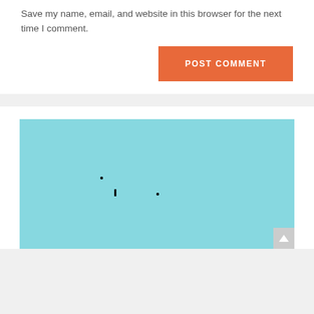Save my name, email, and website in this browser for the next time I comment.
[Figure (screenshot): Orange POST COMMENT button aligned to the right]
[Figure (illustration): Light blue rectangular image placeholder with small black dots/marks near the center]